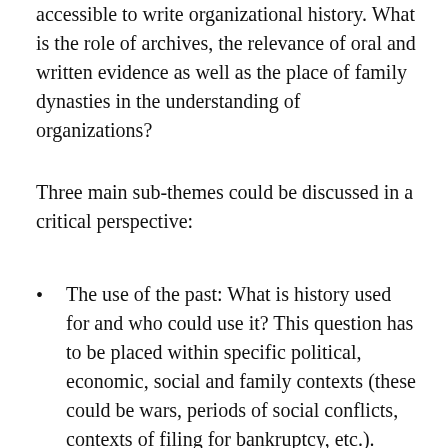accessible to write organizational history. What is the role of archives, the relevance of oral and written evidence as well as the place of family dynasties in the understanding of organizations?
Three main sub-themes could be discussed in a critical perspective:
The use of the past: What is history used for and who could use it? This question has to be placed within specific political, economic, social and family contexts (these could be wars, periods of social conflicts, contexts of filing for bankruptcy, etc.). Historical manipulations, propaganda or advertising analysis, critical outlooks on narratives at